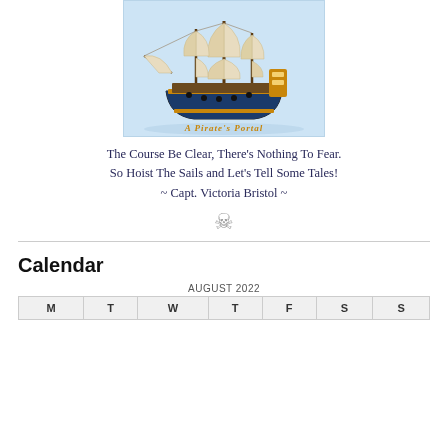[Figure (illustration): A tall sailing ship (galleon) with full white sails on a light blue background, with the text 'A Pirate's Portal' in orange-gold decorative font at the bottom of the image.]
The Course Be Clear, There's Nothing To Fear.
So Hoist The Sails and Let's Tell Some Tales!
~ Capt. Victoria Bristol ~
[Figure (illustration): A skull and crossbones emoji / icon in gray.]
Calendar
| M | T | W | T | F | S | S |
| --- | --- | --- | --- | --- | --- | --- |